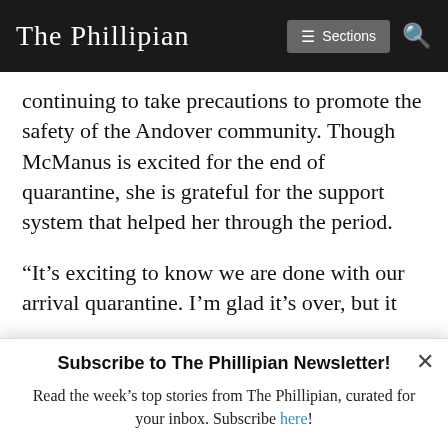The Phillipian | ≡ Sections | 🔍
continuing to take precautions to promote the safety of the Andover community. Though McManus is excited for the end of quarantine, she is grateful for the support system that helped her through the period.
“It’s exciting to know we are done with our arrival quarantine. I’m glad it’s over, but it
Subscribe to The Phillipian Newsletter!
Read the week’s top stories from The Phillipian, curated for your inbox. Subscribe here!